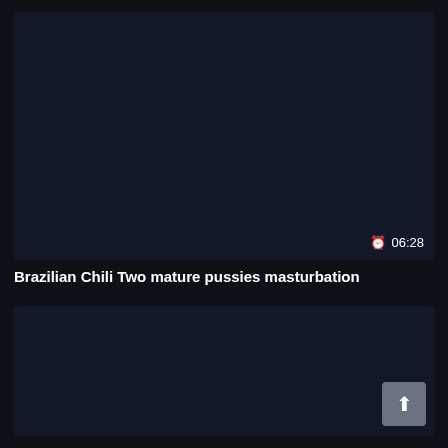[Figure (screenshot): Dark navy video thumbnail card, top half of page]
06:28
Brazilian Chili Two mature pussies masturbation
[Figure (screenshot): Dark navy video thumbnail card, bottom half of page]
[Figure (other): Scroll-to-top button with upward arrow, bottom right corner]